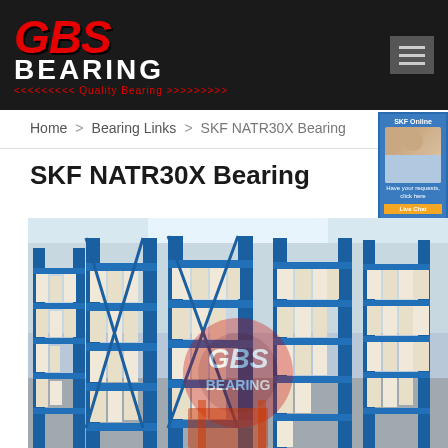GBS BEARING - Quality Bearing
Home > Bearing Links > SKF NATR30X Bearing
SKF NATR30X Bearing
[Figure (photo): Warehouse interior with blue steel shelving racks stocked with boxes of bearings. A red GBS Bearing logo/watermark is overlaid in the center of the image. The shelves extend into the background showing a large inventory of bearing products.]